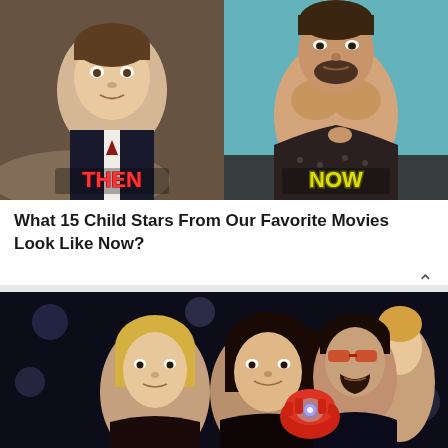[Figure (photo): Side-by-side THEN and NOW comparison photo: left side shows a young boy actor in formal attire at what appears to be a movie setting, with red 'THEN' label; right side shows a muscular shirtless adult man in a photoshoot, with yellow 'NOW' label.]
What 15 Child Stars From Our Favorite Movies Look Like Now?
[Figure (photo): Movie still showing two women and a man wearing Iron Man suit gauntlet at a party scene, appears to be from an Iron Man/Avengers movie.]